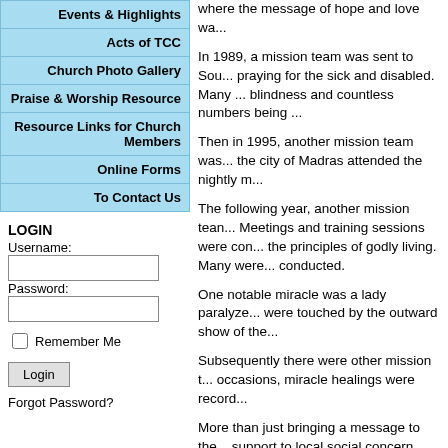Events & Highlights
Acts of TCC
Church Photo Gallery
Praise & Worship Resource
Resource Links for Church Members
Online Forms
To Contact Us
LOGIN
Username:
Password:
Remember Me
Login
Forgot Password?
where the message of hope and love wa...
In 1989, a mission team was sent to Sou... praying for the sick and disabled. Many ... blindness and countless numbers being ...
Then in 1995, another mission team was... the city of Madras attended the nightly m...
The following year, another mission tean... Meetings and training sessions were con... the principles of godly living. Many were... conducted.
One notable miracle was a lady paralyze... were touched by the outward show of the...
Subsequently there were other mission t... occasions, miracle healings were record...
More than just bringing a message to the... support to local social concern organiza... governmental organizations contributed t... Organization (Thailand), Asian Outreach ...
This is done in line with the vision of our... the world.
Print Friendly